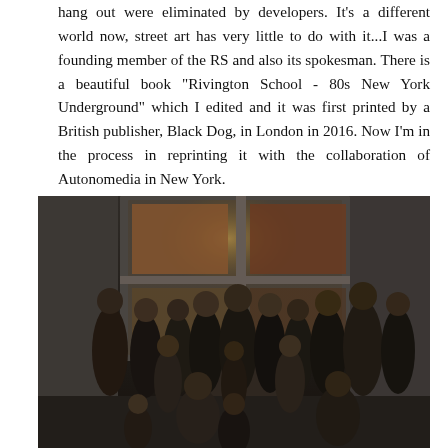hang out were eliminated by developers. It's a different world now, street art has very little to do with it...I was a founding member of the RS and also its spokesman. There is a beautiful book "Rivington School - 80s New York Underground" which I edited and it was first printed by a British publisher, Black Dog, in London in 2016. Now I'm in the process in reprinting it with the collaboration of Autonomedia in New York.
[Figure (photo): Group photo of approximately 20 people standing and sitting in front of a building entrance with a large window displaying posters and artwork. The photo appears to be from the 1980s or early 1990s, black and white or darkly toned.]